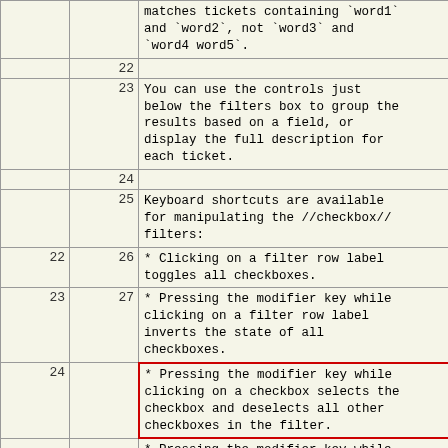|  |  | matches tickets containing `word1` and `word2`, not `word3` and `word4 word5`. |
|  | 22 |  |
|  | 23 | You can use the controls just below the filters box to group the results based on a field, or display the full description for each ticket. |
|  | 24 |  |
|  | 25 | Keyboard shortcuts are available for manipulating the //checkbox// filters: |
| 22 | 26 | * Clicking on a filter row label toggles all checkboxes. |
| 23 | 27 | * Pressing the modifier key while clicking on a filter row label inverts the state of all checkboxes. |
| 24 |  | * Pressing the modifier key while clicking on a checkbox selects the checkbox and deselects all other checkboxes in the filter. |
|  |  | * Pressing the modifier key while clicking on a checkbox selects the |